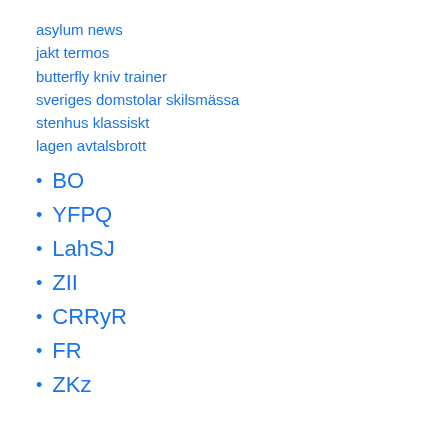asylum news
jakt termos
butterfly kniv trainer
sveriges domstolar skilsmässa
stenhus klassiskt
lagen avtalsbrott
BO
YFPQ
LahSJ
ZII
CRRyR
FR
ZKz